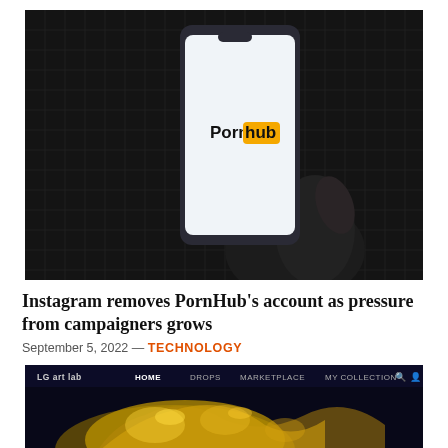[Figure (photo): A hand holding a smartphone displaying the Pornhub logo on screen, against a dark background with a grid-like pattern.]
Instagram removes PornHub's account as pressure from campaigners grows
September 5, 2022 — TECHNOLOGY
[Figure (screenshot): Screenshot of the LG Art Lab website showing a navigation bar with HOME, DROPS, MARKETPLACE, MY COLLECTION and a dark background with gold sculptural artwork.]